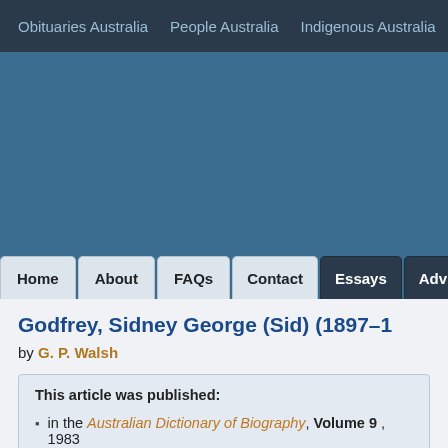Obituaries Australia   People Australia   Indigenous Australia   Wo...
[Figure (screenshot): Blue banner/header area for Australian Dictionary of Biography website]
Home   About   FAQs   Contact   Essays   Adv...
Godfrey, Sidney George (Sid) (1897–1...
by G. P. Walsh
This article was published:
• in the Australian Dictionary of Biography, Volume 9 , 1983
• online in 2006